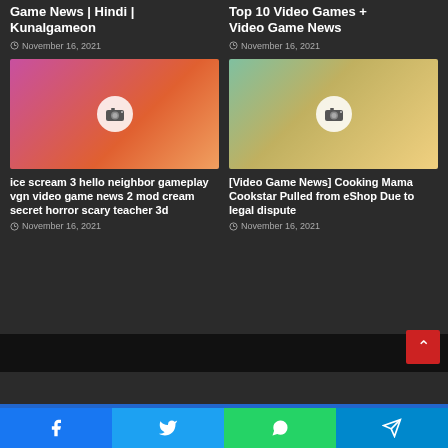Game News | Hindi | Kunalgameon
November 16, 2021
Top 10 Video Games + Video Game News
November 16, 2021
[Figure (photo): Thumbnail with horror game characters including Ice Scream and Hello Neighbor, camera placeholder overlay]
ice scream 3 hello neighbor gameplay vgn video game news 2 mod cream secret horror scary teacher 3d
November 16, 2021
[Figure (photo): Thumbnail showing Cooking Mama Cookstar game with UPDATE notice about eShop removal, camera placeholder overlay]
[Video Game News] Cooking Mama Cookstar Pulled from eShop Due to legal dispute
November 16, 2021